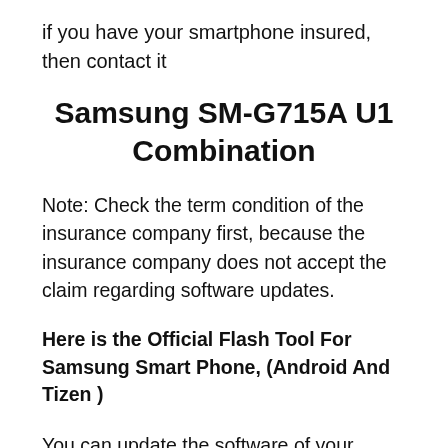if you have your smartphone insured, then contact it
Samsung SM-G715A U1 Combination
Note: Check the term condition of the insurance company first, because the insurance company does not accept the claim regarding software updates.
Here is the Official Flash Tool For Samsung Smart Phone, (Android And Tizen )
You can update the software of your phone very easily and that too at home
You just have to follow some rules.